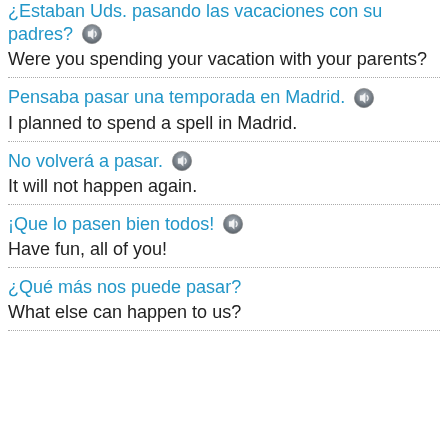¿Estaban Uds. pasando las vacaciones con su padres? [speaker] Were you spending your vacation with your parents?
Pensaba pasar una temporada en Madrid. [speaker] I planned to spend a spell in Madrid.
No volverá a pasar. [speaker] It will not happen again.
¡Que lo pasen bien todos! [speaker] Have fun, all of you!
¿Qué más nos puede pasar? What else can happen to us?